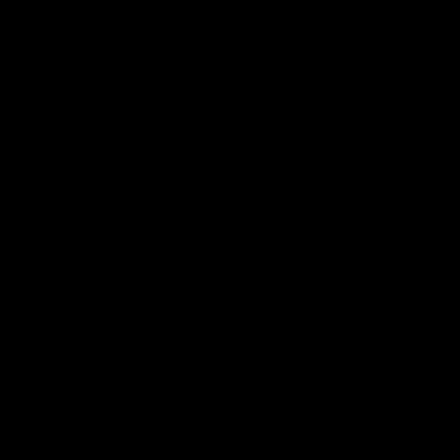[Figure (photo): A completely black image filling the entire page with no visible content or details.]